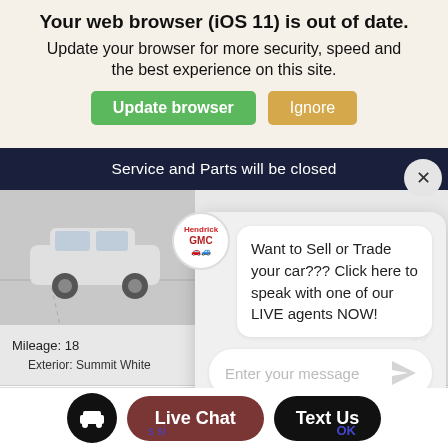Your web browser (iOS 11) is out of date.
Update your browser for more security, speed and the best experience on this site.
Update browser | Ignore
Service and Parts will be closed
[Figure (screenshot): Screenshot of a car dealership website showing a white SUV, search bar, chat popup with GMC logo, live chat interface, and bottom navigation buttons for Live Chat and Text Us.]
Want to Sell or Trade your car??? Click here to speak with one of our LIVE agents NOW!
Enter your message
Mileage: 18
Exterior: Summit White
Search by year, make, mode...
VIEW DETAILS
Live Chat
Text Us